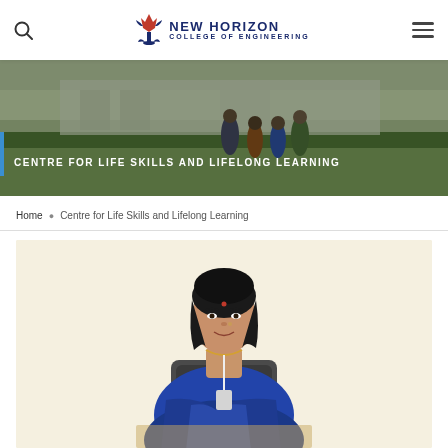New Horizon College of Engineering
[Figure (photo): Campus hero banner with students on lawn; heading 'CENTRE FOR LIFE SKILLS AND LIFELONG LEARNING' overlaid on left with blue left border accent]
Home · Centre for Life Skills and Lifelong Learning
[Figure (photo): Portrait photo of a woman in a blue saree seated at a desk, cropped at bottom, against a cream/beige background]